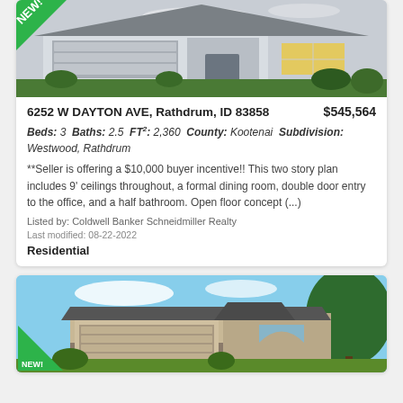[Figure (photo): Rendering of a modern two-story suburban house with two-car garage, NEW badge in top-left corner]
6252 W DAYTON AVE, Rathdrum, ID 83858   $545,564
Beds: 3  Baths: 2.5  FT²: 2,360  County: Kootenai  Subdivision: Westwood, Rathdrum
**Seller is offering a $10,000 buyer incentive!! This two story plan includes 9' ceilings throughout, a formal dining room, double door entry to the office, and a half bathroom. Open floor concept (...)
Listed by: Coldwell Banker Schneidmiller Realty
Last modified: 08-22-2022
Residential
[Figure (photo): Photo of a ranch-style house with large garage, blue sky, large evergreen tree on right, NEW badge at bottom-left]